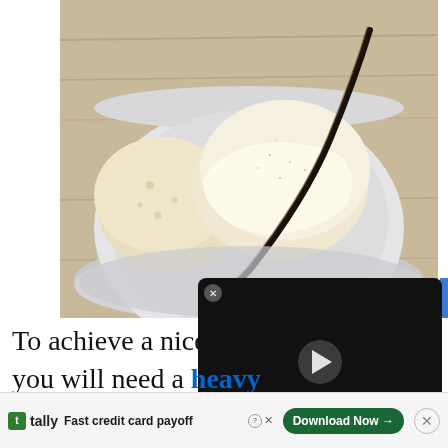[Figure (photo): A white ceramic bowl containing scoops of vanilla ice cream with a vanilla bean pod resting diagonally across them, melting slightly. The bowl rests on a wooden surface.]
[Figure (screenshot): An embedded video player overlay in dark/black color with a circular play button in the center and a close (X) button in the top left corner. A blue accent bar is visible on the right edge.]
To achieve a nice and creamy texture, you will need a heavy pan with a nonstick coating so that you can take … with …
[Figure (infographic): Advertisement banner for Tally app: green logo icon, 'tally' brand name, 'Fast credit card payoff' tagline, a 'Download Now' CTA button in dark green, and a close X button.]